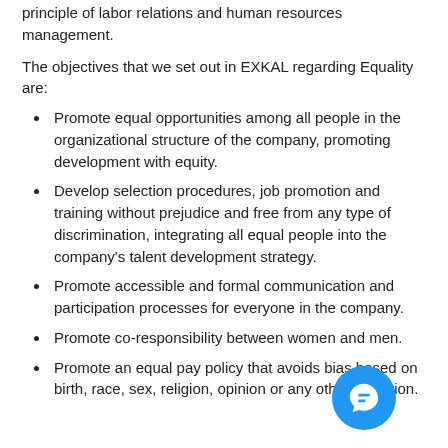principle of labor relations and human resources management.
The objectives that we set out in EXKAL regarding Equality are:
Promote equal opportunities among all people in the organizational structure of the company, promoting development with equity.
Develop selection procedures, job promotion and training without prejudice and free from any type of discrimination, integrating all equal people into the company's talent development strategy.
Promote accessible and formal communication and participation processes for everyone in the company.
Promote co-responsibility between women and men.
Promote an equal pay policy that avoids bias based on birth, race, sex, religion, opinion or any other condition.